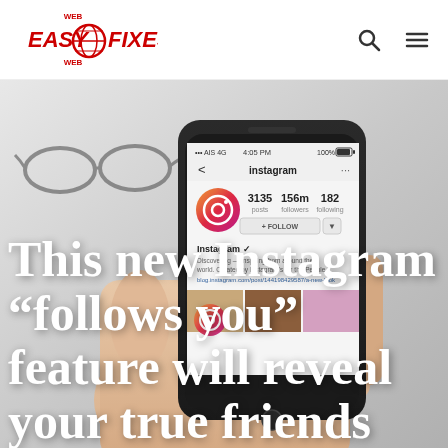EasyWebFixes
[Figure (photo): A hand holding a smartphone displaying the Instagram profile page, with glasses in the background. The phone shows the Instagram app with 3135 posts, 156m followers, 182 following stats visible.]
This new Instagram "follows you" feature will reveal your true friends